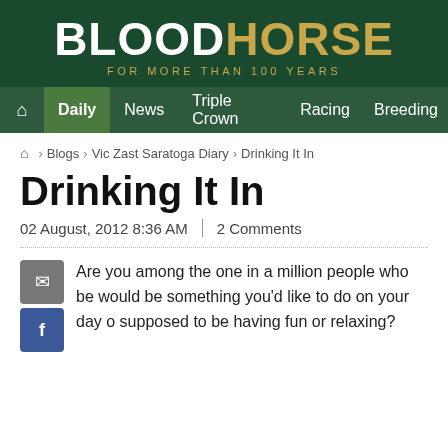BLOODHORSE FOR MORE THAN 100 YEARS
Home | Daily | News | Triple Crown | Racing | Breeding
Home › Blogs › Vic Zast Saratoga Diary › Drinking It In
Drinking It In
02 August, 2012 8:36 AM | 2 Comments
Are you among the one in a million people who be would be something you'd like to do on your day o supposed to be having fun or relaxing?